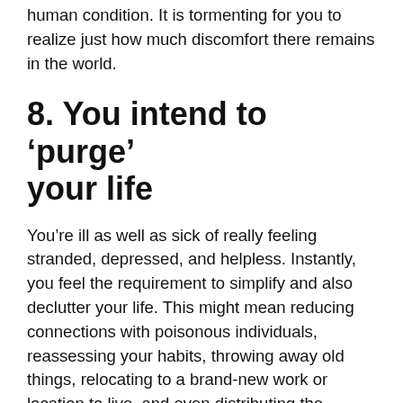human condition. It is tormenting for you to realize just how much discomfort there remains in the world.
8. You intend to ‘purge’ your life
You’re ill as well as sick of really feeling stranded, depressed, and helpless. Instantly, you feel the requirement to simplify and also declutter your life. This might mean reducing connections with poisonous individuals, reassessing your habits, throwing away old things, relocating to a brand-new work or location to live, and even distributing the majority of what you have.
9. You…